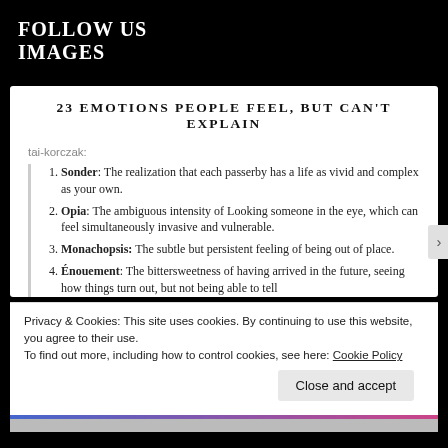FOLLOW US
IMAGES
23 EMOTIONS PEOPLE FEEL, BUT CAN'T EXPLAIN
tai-korczak:
Sonder: The realization that each passerby has a life as vivid and complex as your own.
Opia: The ambiguous intensity of Looking someone in the eye, which can feel simultaneously invasive and vulnerable.
Monachopsis: The subtle but persistent feeling of being out of place.
Énouement: The bittersweetness of having arrived in the future, seeing how things turn out, but not being able to tell
Privacy & Cookies: This site uses cookies. By continuing to use this website, you agree to their use. To find out more, including how to control cookies, see here: Cookie Policy
Close and accept